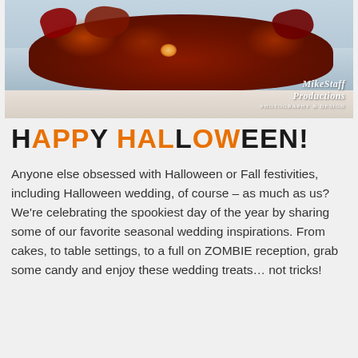[Figure (photo): Autumn/fall decorated table centerpiece with red, orange, and brown leaves piled on a white tablecloth with curtains in the background. MikeStaff Productions watermark visible in lower right.]
HAPPY HALLOWEEN!
Anyone else obsessed with Halloween or Fall festivities, including Halloween wedding, of course – as much as us? We're celebrating the spookiest day of the year by sharing some of our favorite seasonal wedding inspirations. From cakes, to table settings, to a full on ZOMBIE reception, grab some candy and enjoy these wedding treats… not tricks!